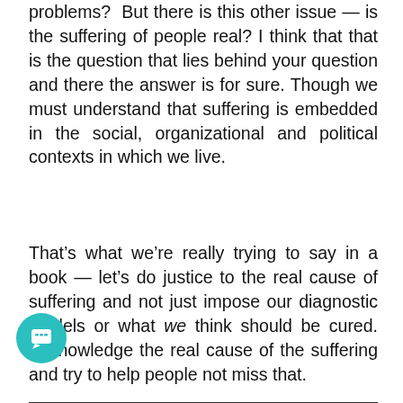problems? But there is this other issue — is the suffering of people real? I think that that is the question that lies behind your question and there the answer is for sure. Though we must understand that suffering is embedded in the social, organizational and political contexts in which we live.
That's what we're really trying to say in a book — let's do justice to the real cause of suffering and not just impose our diagnostic models or what we think should be cured. Acknowledge the real cause of the suffering and try to help people not miss that.